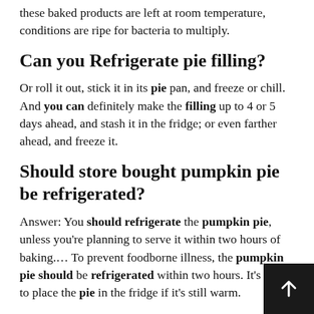these baked products are left at room temperature, conditions are ripe for bacteria to multiply.
Can you Refrigerate pie filling?
Or roll it out, stick it in its pie pan, and freeze or chill. And you can definitely make the filling up to 4 or 5 days ahead, and stash it in the fridge; or even farther ahead, and freeze it.
Should store bought pumpkin pie be refrigerated?
Answer: You should refrigerate the pumpkin pie, unless you’re planning to serve it within two hours of baking.…. To prevent foodborne illness, the pumpkin pie should be refrigerated within two hours. It’s okay to place the pie in the fridge if it’s still warm.